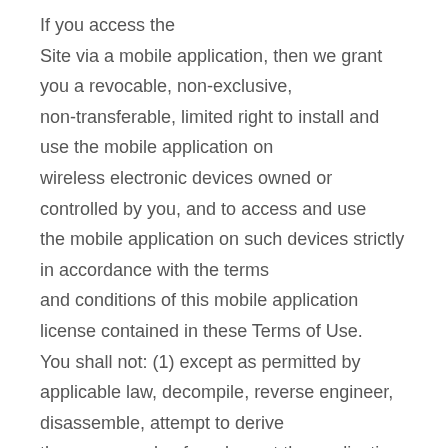If you access the Site via a mobile application, then we grant you a revocable, non-exclusive, non-transferable, limited right to install and use the mobile application on wireless electronic devices owned or controlled by you, and to access and use the mobile application on such devices strictly in accordance with the terms and conditions of this mobile application license contained in these Terms of Use. You shall not: (1) except as permitted by applicable law, decompile, reverse engineer, disassemble, attempt to derive the source code of, or decrypt the application; (2) make any modification,